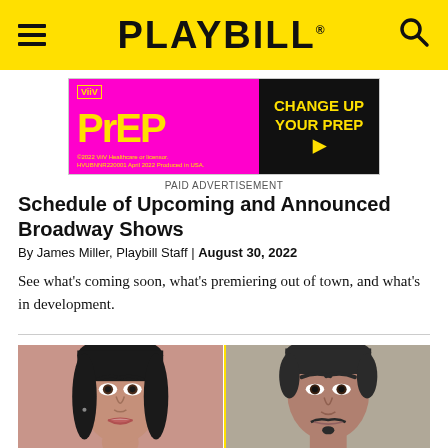PLAYBILL
[Figure (infographic): Advertisement for PrEP medication with magenta/pink background. Left side shows stylized 'PrEP' text in yellow on magenta background with ViiV logo and fine print: '©2022 ViiV Healthcare or licensor. HVUBNNR220001 April 2022 Produced in USA.' Right side shows black background with yellow text 'CHANGE UP YOUR PrEP' with arrow.]
PAID ADVERTISEMENT
Schedule of Upcoming and Announced Broadway Shows
By James Miller, Playbill Staff | August 30, 2022
See what's coming soon, what's premiering out of town, and what's in development.
[Figure (photo): Two headshots side by side. Left: a young woman with long dark hair against a pink/salmon background. Right: a man with short dark hair and a goatee/soul patch beard against a gray background.]